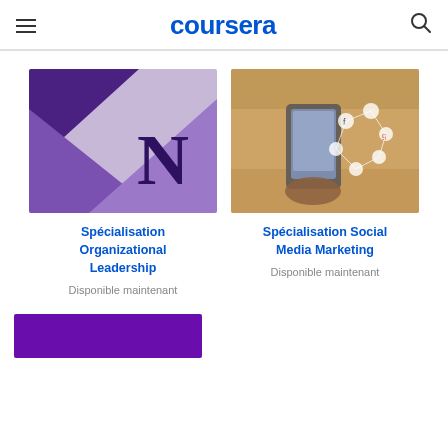coursera
[Figure (logo): Northwestern University logo with purple geometric shapes and letter N]
Spécialisation Organizational Leadership
Disponible maintenant
[Figure (photo): Person holding smartphone with social network icons overlay]
Spécialisation Social Media Marketing
Disponible maintenant
[Figure (photo): Bottom card preview - purple rectangle partially visible]